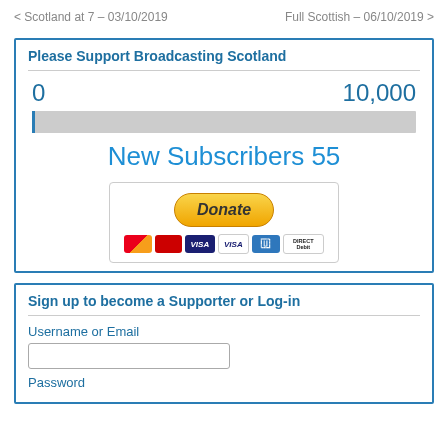< Scotland at 7 – 03/10/2019    Full Scottish – 06/10/2019 >
Please Support Broadcasting Scotland
0    10,000
New Subscribers 55
[Figure (other): PayPal donate button with payment card icons: Mastercard, Visa, American Express, Direct Debit]
Sign up to become a Supporter or Log-in
Username or Email
Password